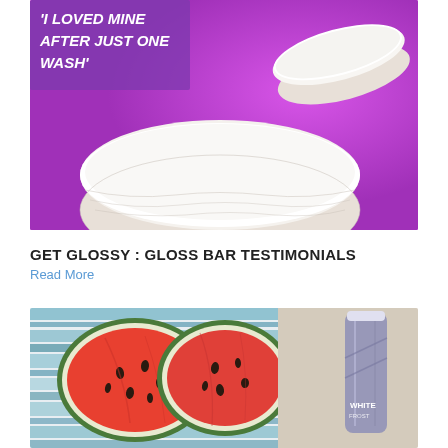[Figure (photo): White soap bars on a purple background with italic quote text overlay reading 'I LOVED MINE AFTER JUST ONE WASH']
GET GLOSSY : GLOSS BAR TESTIMONIALS
Read More
[Figure (photo): Split watermelon halves on a striped blue and white towel, with a lavender/grey cosmetic tube on a sandy surface to the right, with text 'WHITE' and partially visible label]